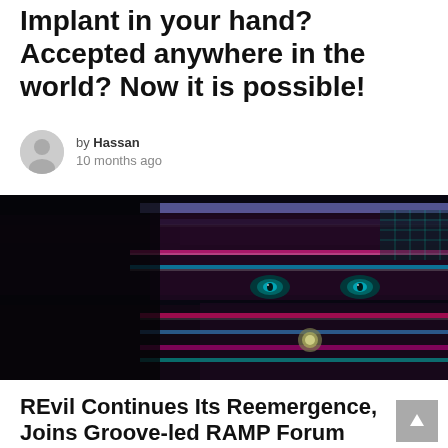Implant in your hand? Accepted anywhere in the world? Now it is possible!
by Hassan
10 months ago
[Figure (photo): Dark photo of a person's face partially obscured by hands displaying colorful neon/LED light patterns with a circuit-board or pixelated digital aesthetic. The face has glowing eyes visible through the fingers.]
REvil Continues Its Reemergence, Joins Groove-led RAMP Forum